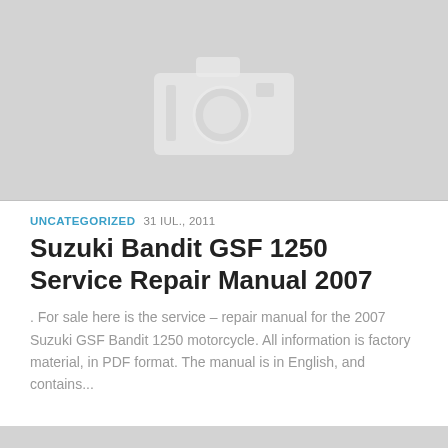[Figure (photo): Placeholder image with camera icon on grey background]
UNCATEGORIZED 31 IUL., 2011
Suzuki Bandit GSF 1250 Service Repair Manual 2007
. For sale here is the service – repair manual for the 2007 Suzuki GSF Bandit 1250 motorcycle. All information is factory material, in PDF format. The manual is in English, and contains...